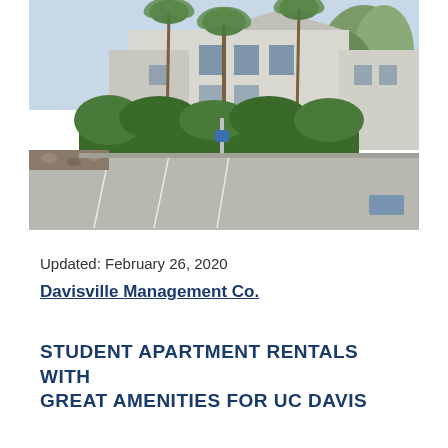[Figure (photo): Exterior photo of an apartment complex with white/grey buildings, palm trees, green hedges, and a concrete parking area in the foreground. Blue sky visible in background.]
Updated: February 26, 2020
Davisville Management Co.
STUDENT APARTMENT RENTALS WITH GREAT AMENITIES FOR UC DAVIS